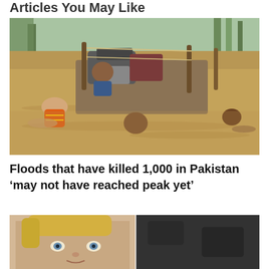Articles You May Like
[Figure (photo): People wading through floodwaters pushing a makeshift raft loaded with belongings; one person wearing an orange high-visibility vest, floodwater at chest/neck level, trees and brown murky water in background.]
Floods that have killed 1,000 in Pakistan ‘may not have reached peak yet’
[Figure (photo): Partial view of a young blonde girl's face on the left side and a dark blurry image on the right side.]